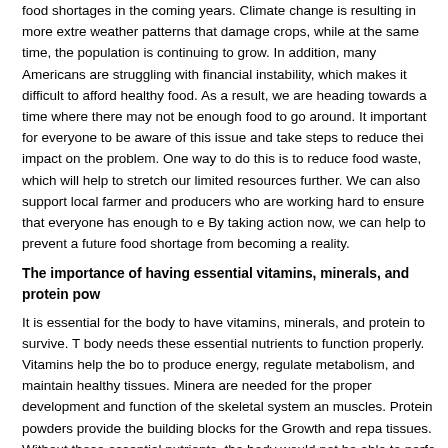food shortages in the coming years. Climate change is resulting in more extreme weather patterns that damage crops, while at the same time, the population is continuing to grow. In addition, many Americans are struggling with financial instability, which makes it difficult to afford healthy food. As a result, we are heading towards a time where there may not be enough food to go around. It is important for everyone to be aware of this issue and take steps to reduce their impact on the problem. One way to do this is to reduce food waste, which will help to stretch our limited resources further. We can also support local farmers and producers who are working hard to ensure that everyone has enough to eat. By taking action now, we can help to prevent a future food shortage from becoming a reality.
The importance of having essential vitamins, minerals, and protein powders
It is essential for the body to have vitamins, minerals, and protein to survive. The body needs these essential nutrients to function properly. Vitamins help the body to produce energy, regulate metabolism, and maintain healthy tissues. Minerals are needed for the proper development and function of the skeletal system and muscles. Protein powders provide the building blocks for the Growth and repair of tissues. Without these essential nutrients, the body would not be able to perform its basic functions. As a result, it is essential that people get enough of these nutrients through their diet or supplements.